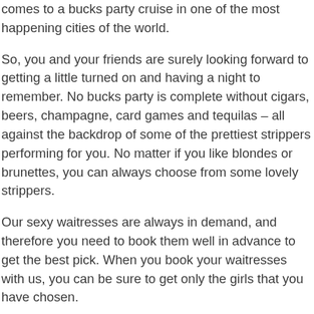comes to a bucks party cruise in one of the most happening cities of the world.
So, you and your friends are surely looking forward to getting a little turned on and having a night to remember. No bucks party is complete without cigars, beers, champagne, card games and tequilas – all against the backdrop of some of the prettiest strippers performing for you. No matter if you like blondes or brunettes, you can always choose from some lovely strippers.
Our sexy waitresses are always in demand, and therefore you need to book them well in advance to get the best pick. When you book your waitresses with us, you can be sure to get only the girls that you have chosen.
The result is that you and your buddies get to occupy the first-row seat and get all the attention of the performer. Also, you are going to be in a safe and controlled environment so that you can take a cab and reach home when the revelling gets